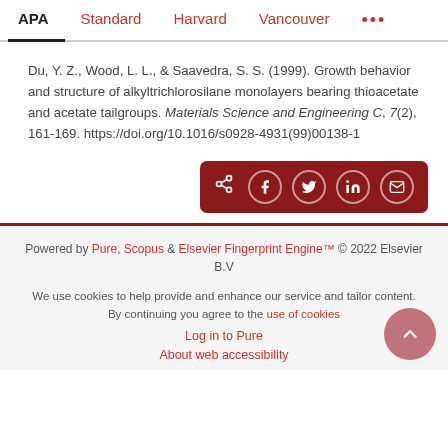APA | Standard | Harvard | Vancouver | ...
Du, Y. Z., Wood, L. L., & Saavedra, S. S. (1999). Growth behavior and structure of alkyltrichlorosilane monolayers bearing thioacetate and acetate tailgroups. Materials Science and Engineering C, 7(2), 161-169. https://doi.org/10.1016/s0928-4931(99)00138-1
[Figure (other): Social share buttons bar with share, Facebook, Twitter, LinkedIn, and email icons on dark red background]
Powered by Pure, Scopus & Elsevier Fingerprint Engine™ © 2022 Elsevier B.V
We use cookies to help provide and enhance our service and tailor content. By continuing you agree to the use of cookies
Log in to Pure
About web accessibility